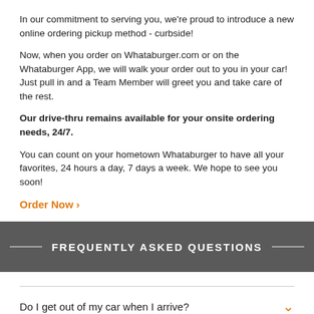In our commitment to serving you, we're proud to introduce a new online ordering pickup method - curbside!
Now, when you order on Whataburger.com or on the Whataburger App, we will walk your order out to you in your car! Just pull in and a Team Member will greet you and take care of the rest.
Our drive-thru remains available for your onsite ordering needs, 24/7.
You can count on your hometown Whataburger to have all your favorites, 24 hours a day, 7 days a week. We hope to see you soon!
Order Now >
FREQUENTLY ASKED QUESTIONS
Do I get out of my car when I arrive?
Do I need to wear a mask?